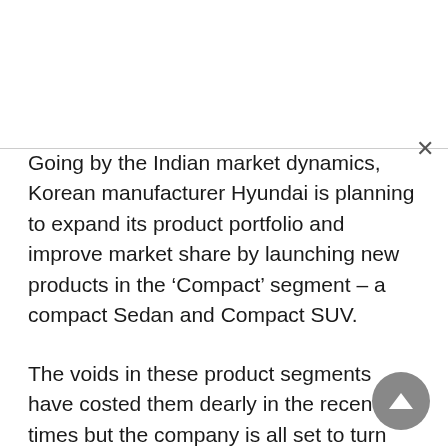Going by the Indian market dynamics, Korean manufacturer Hyundai is planning to expand its product portfolio and improve market share by launching new products in the ‘Compact’ segment – a compact Sedan and Compact SUV.
The voids in these product segments have costed them dearly in the recent times but the company is all set to turn this around by bringing in new products.